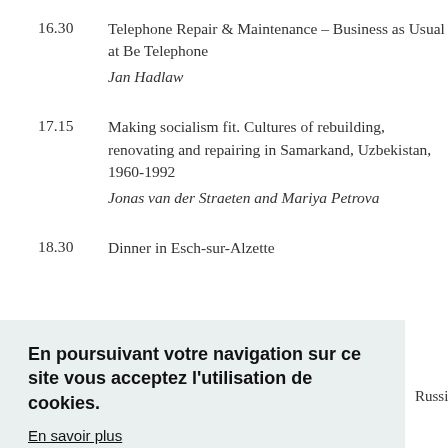16.30  Telephone Repair & Maintenance – Business as Usual at Be Telephone
Jan Hadlaw
17.15  Making socialism fit. Cultures of rebuilding, renovating and repairing in Samarkand, Uzbekistan, 1960-1992
Jonas van der Straeten and Mariya Petrova
18.30  Dinner in Esch-sur-Alzette
En poursuivant votre navigation sur ce site vous acceptez l'utilisation de cookies.
En savoir plus
J'ai compris
Russian Pr